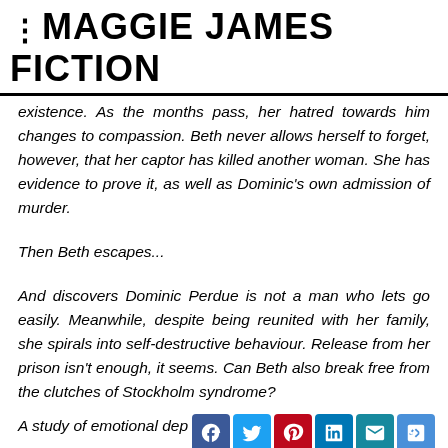MAGGIE JAMES FICTION
existence. As the months pass, her hatred towards him changes to compassion. Beth never allows herself to forget, however, that her captor has killed another woman. She has evidence to prove it, as well as Dominic's own admission of murder.
Then Beth escapes...
And discovers Dominic Perdue is not a man who lets go easily. Meanwhile, despite being reunited with her family, she spirals into self-destructive behaviour. Release from her prison isn't enough, it seems. Can Beth also break free from the clutches of Stockholm syndrome?
A study of emotional dep
examines how the mi